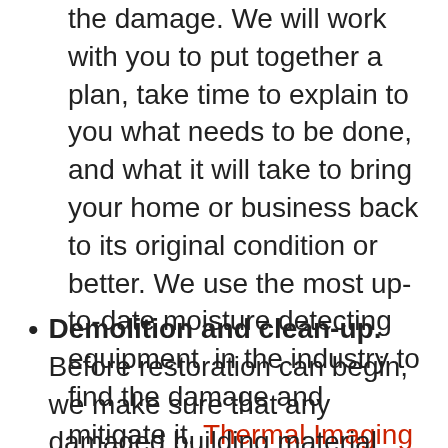the damage. We will work with you to put together a plan, take time to explain to you what needs to be done,  and what it will take to bring your home or business back to its original condition or better. We use the most up-to-date moisture detecting equipment  in the industry to find the damage and mitigate it. Thermal Imaging Our Flood Cleanup Services Are #1 in Redford Michigan
Demolition and clean-up. Before restoration can begin, we make sure that any damaged building material (such as water-soaked carpets, pad, drywall, hardwood floors) that cannot be restored is properly removed.